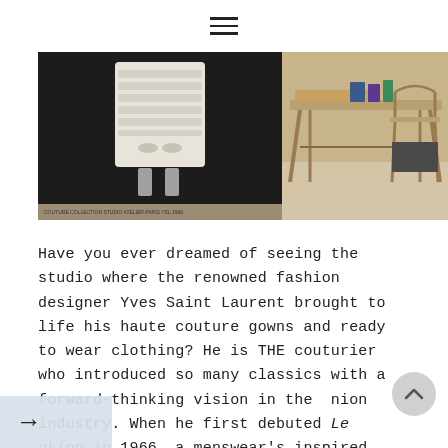≡
[Figure (photo): Two photos side by side: left shows a white textured haute couture gown on a mannequin in a dark museum display; right shows a designer's studio desk with wooden trestle legs, art supplies, and chairs.]
Have you ever dreamed of seeing the studio where the renowned fashion designer Yves Saint Laurent brought to life his haute couture gowns and ready to wear clothing? He is THE couturier who introduced so many classics with a forward-thinking vision in the fashion industry. When he first debuted Le Smoking in 1966, a menswear's inspired